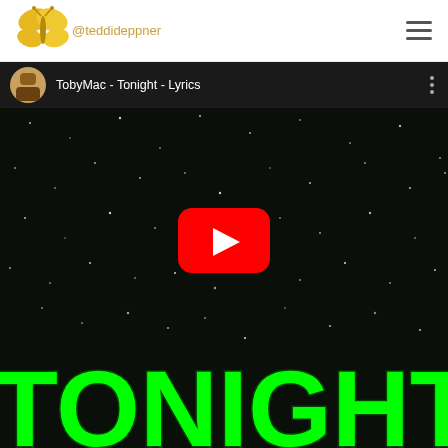@teddideppner
[Figure (screenshot): YouTube video embed showing TobyMac - Tonight - Lyrics video. Dark starfield background with bright green 'TONIGHT' text at bottom. Red YouTube play button in center. Video top bar shows channel icon and title 'TobyMac - Tonight - Lyrics'.]